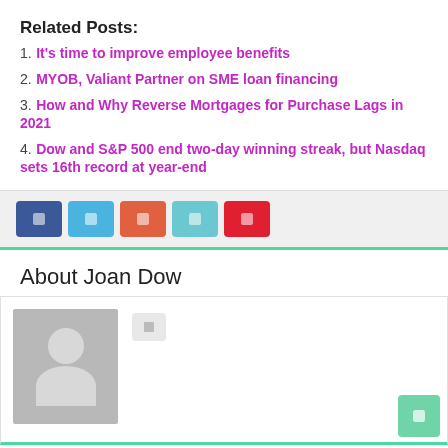Related Posts:
1. It's time to improve employee benefits
2. MYOB, Valiant Partner on SME loan financing
3. How and Why Reverse Mortgages for Purchase Lags in 2021
4. Dow and S&P 500 end two-day winning streak, but Nasdaq sets 16th record at year-end
[Figure (infographic): Social sharing buttons: Facebook (blue), Twitter (light blue), Google+ (orange-red), LinkedIn (teal), Pinterest (red)]
About Joan Dow
[Figure (photo): Generic grey avatar/placeholder image with silhouette of a person, alongside a website button icon]